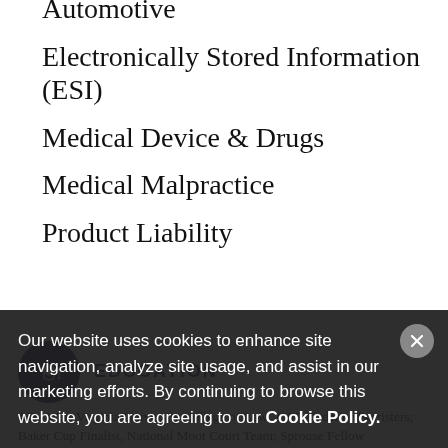Automotive
Electronically Stored Information (ESI)
Medical Device & Drugs
Medical Malpractice
Product Liability
EDUCATION
J.D., West Virginia University College of Law, 2007; Order of Barristers; Baker Cup Finalist, National Moot Court Team; Sprouse Fellow
Our website uses cookies to enhance site navigation, analyze site usage, and assist in our marketing efforts. By continuing to browse this website, you are agreeing to our Cookie Policy.